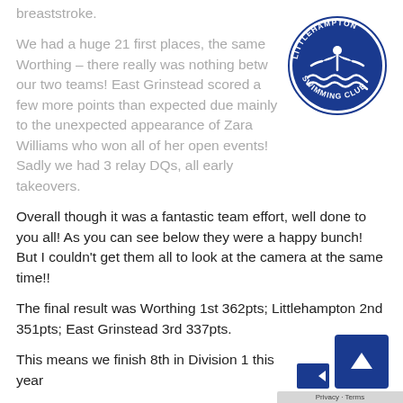[Figure (logo): Littlehampton Swimming Club circular logo with swimmer and waves]
breaststroke.
We had a huge 21 first places, the same Worthing – there really was nothing betw our two teams! East Grinstead scored a few more points than expected due mainly to the unexpected appearance of Zara Williams who won all of her open events! Sadly we had 3 relay DQs, all early takeovers.
Overall though it was a fantastic team effort, well done to you all! As you can see below they were a happy bunch! But I couldn't get them all to look at the camera at the same time!!
The final result was Worthing 1st 362pts; Littlehampton 2nd 351pts; East Grinstead 3rd 337pts.
This means we finish 8th in Division 1 this year